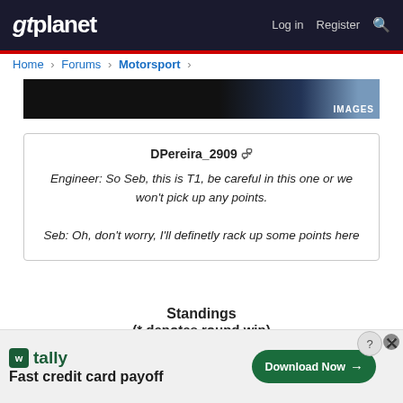gtplanet  Log in  Register
Home > Forums > Motorsport >
[Figure (photo): Partial racing/motorsport image strip with IMAGES label in corner]
DPereira_2909

Engineer: So Seb, this is T1, be careful in this one or we won't pick up any points.

Seb: Oh, don't worry, I'll definetly rack up some points here
Standings
(* denotes round win)

1: DPereira_2909 - 25*
[Figure (screenshot): Advertisement banner: Tally - Fast credit card payoff, Download Now button]